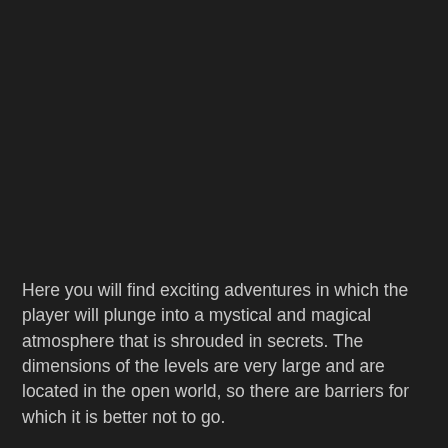Here you will find exciting adventures in which the player will plunge into a mystical and magical atmosphere that is shrouded in secrets. The dimensions of the levels are very large and are located in the open world, so there are barriers for which it is better not to go.